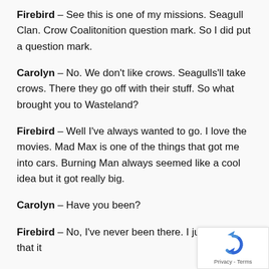Firebird – See this is one of my missions. Seagull Clan. Crow Coalitonition question mark. So I did put a question mark.
Carolyn – No. We don't like crows. Seagulls'll take crows. There they go off with their stuff. So what brought you to Wasteland?
Firebird – Well I've always wanted to go. I love the movies. Mad Max is one of the things that got me into cars. Burning Man always seemed like a cool idea but it got really big.
Carolyn – Have you been?
Firebird – No, I've never been there. I just heard that it